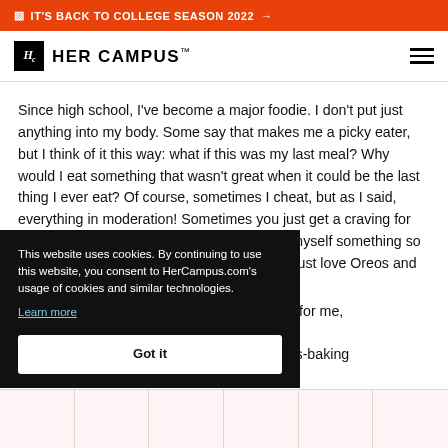🔲 IT'S BACK TO COLLEGE SEASON 2022 →
Hc HER CAMPUS™
Since high school, I've become a major foodie. I don't put just anything into my body. Some say that makes me a picky eater, but I think of it this way: what if this was my last meal? Why would I eat something that wasn't great when it could be the last thing I ever eat? Of course, sometimes I cheat, but as I said, everything in moderation! Sometimes you just get a craving for an Oreo McFlurry... and who am I to refuse myself something so delicious? (Not sponsored by McDonald's; I just love Oreos and ice cream.)
...because they're good for me, ...n't restrict myself from ...c and cheese or stress-baking ...
This website uses cookies. By continuing to use this website, you consent to HerCampus.com's usage of cookies and similar technologies. Learn more Got it